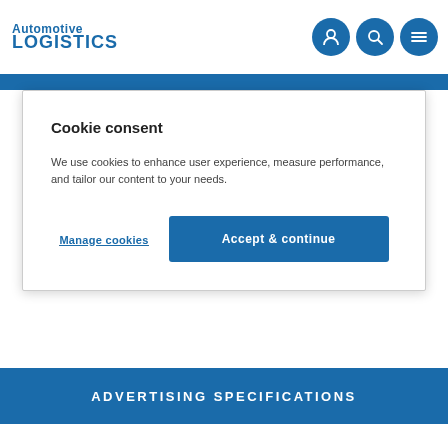Automotive LOGISTICS
Cookie consent
We use cookies to enhance user experience, measure performance, and tailor our content to your needs.
Manage cookies
Accept & continue
ADVERTISING SPECIFICATIONS